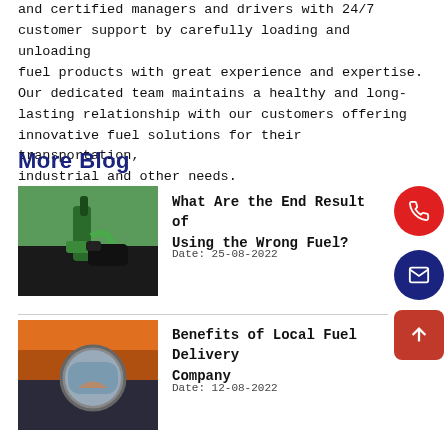and certified managers and drivers with 24/7 customer support by carefully loading and unloading fuel products with great experience and expertise. Our dedicated team maintains a healthy and long-lasting relationship with our customers offering innovative fuel solutions for their transportation, industrial and other needs.
More Blog
[Figure (photo): Fuel nozzle pumping green fuel into a vehicle with text overlay: 'What Are the End Result of Using the Wrong Fuel?']
What Are the End Result of Using the Wrong Fuel?
Date: 25-08-2022
[Figure (photo): Truck side mirror reflection with sunset highway scene]
Benefits of Local Fuel Delivery Company
Date: 12-08-2022